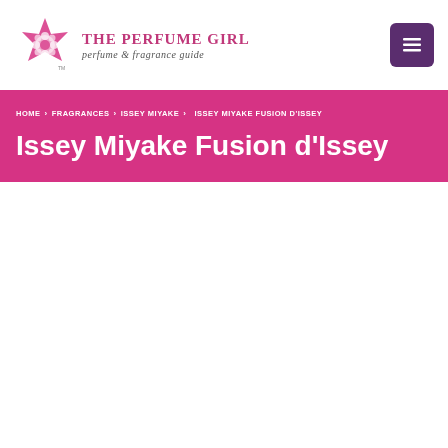The Perfume Girl — perfume & fragrance guide
HOME > FRAGRANCES > ISSEY MIYAKE > ISSEY MIYAKE FUSION D'ISSEY
Issey Miyake Fusion d'Issey